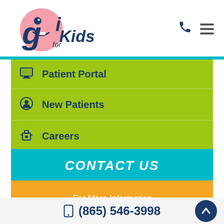[Figure (logo): GI for Kids logo with cartoon stomach character and text 'gi for Kids']
Patient Portal
New Patients
Careers
CONTACT US
For More Information Please Contact Us
(865) 546-3998